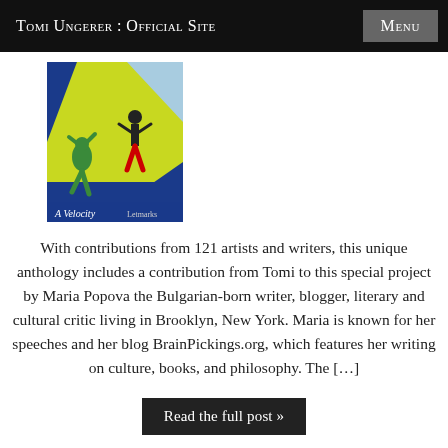Tomi Ungerer : Official Site
[Figure (illustration): Book cover or illustration showing stylized figures skating or moving against a yellow and blue background, with text 'A Velocity' visible at bottom]
With contributions from 121 artists and writers, this unique anthology includes a contribution from Tomi to this special project by Maria Popova the Bulgarian-born writer, blogger, literary and cultural critic living in Brooklyn, New York. Maria is known for her speeches and her blog BrainPickings.org, which features her writing on culture, books, and philosophy. The […]
Read the full post »